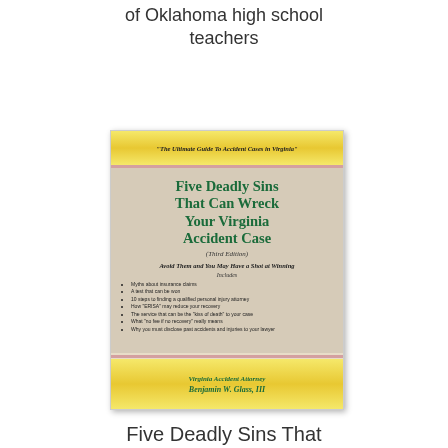of Oklahoma high school teachers
[Figure (illustration): Book cover for 'Five Deadly Sins That Can Wreck Your Virginia Accident Case (Third Edition)' by Virginia Accident Attorney Benjamin W. Glass, III. Yellow band at top with tagline 'The Ultimate Guide To Accident Cases in Virginia'. Main title in green on marble/beige background. Subtitle 'Avoid Them and You May Have a Shot at Winning'. Yellow band at bottom with author name.]
Five Deadly Sins That